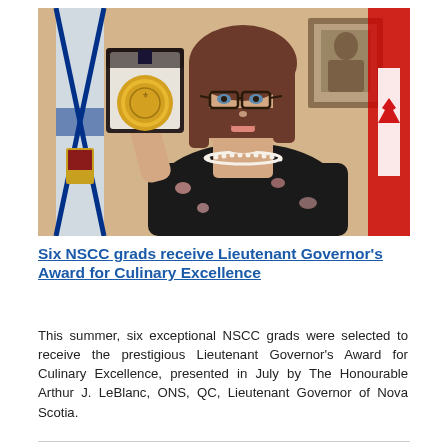[Figure (photo): A woman with short brown hair and glasses smiles at the camera while holding up a gold medal in an open box. She is wearing a black floral dress and pearl necklace. In the background are flags including the Nova Scotia flag and a Canadian flag, as well as a framed portrait on the wall.]
Six NSCC grads receive Lieutenant Governor's Award for Culinary Excellence
This summer, six exceptional NSCC grads were selected to receive the prestigious Lieutenant Governor's Award for Culinary Excellence, presented in July by The Honourable Arthur J. LeBlanc, ONS, QC, Lieutenant Governor of Nova Scotia.